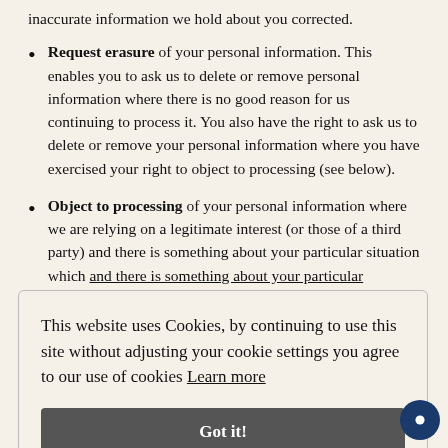inaccurate information we hold about you corrected.
Request erasure of your personal information. This enables you to ask us to delete or remove personal information where there is no good reason for us continuing to process it. You also have the right to ask us to delete or remove your personal information where you have exercised your right to object to processing (see below).
Object to processing of your personal information where we are relying on a legitimate interest (or those of a third party) and there is something about your particular situation which [partially obscured]
This website uses Cookies, by continuing to use this site without adjusting your cookie settings you agree to our use of cookies Learn more
Got it!